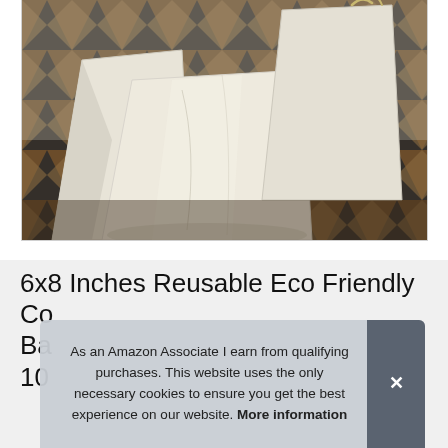[Figure (photo): Photo of cream/off-white reusable cotton bags arranged on a decorative brown and black geometric patterned rug/mat. Multiple bags of different sizes are stacked and laid out, one with a drawstring visible at top right.]
6x8 Inches Reusable Eco Friendly Co Ba 10
As an Amazon Associate I earn from qualifying purchases. This website uses the only necessary cookies to ensure you get the best experience on our website. More information